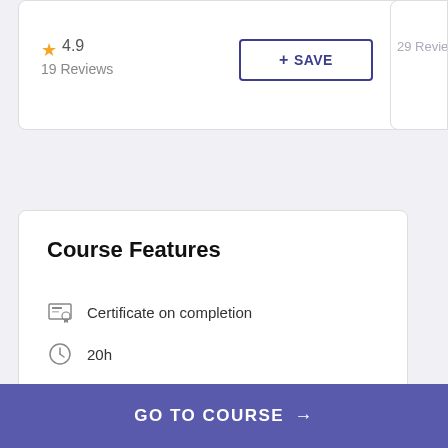★ 4.9
19 Reviews
+ SAVE
29 Reviews
Course Features
Certificate on completion
20h
Coursera
GO TO COURSE →